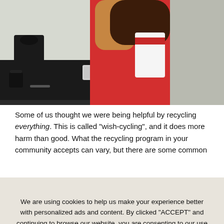[Figure (photo): A woman in a red dress standing in a kitchen holding a white paper bag, with kitchen appliances and counter visible in the background.]
Some of us thought we were being helpful by recycling everything. This is called “wish-cycling”, and it does more harm than good. What the recycling program in your community accepts can vary, but there are some common
We are using cookies to help us make your experience better with personalized ads and content. By clicked "ACCEPT" and continuing to browse our website, you are consenting to our use of cookies. Read more about our PRIVACY POLICY
ACCEPT
MANAGE SETTINGS